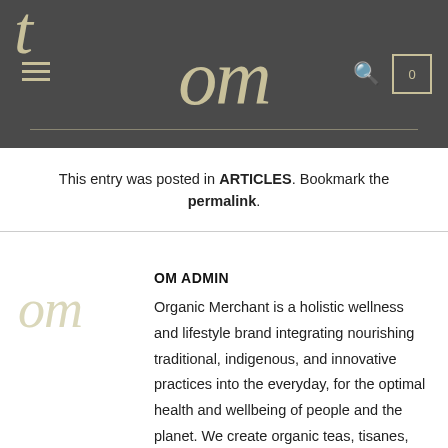om
This entry was posted in ARTICLES. Bookmark the permalink.
OM ADMIN
Organic Merchant is a holistic wellness and lifestyle brand integrating nourishing traditional, indigenous, and innovative practices into the everyday, for the optimal health and wellbeing of people and the planet. We create organic teas, tisanes,